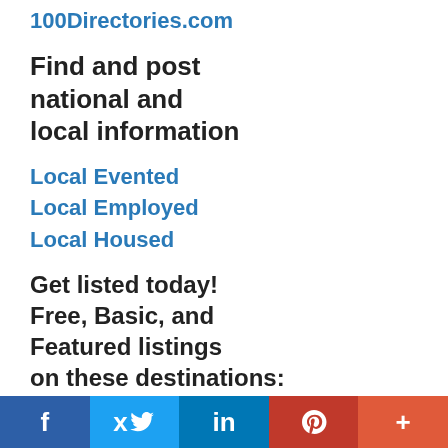100Directories.com
Find and post national and local information
Local Evented
Local Employed
Local Housed
Get listed today! Free, Basic, and Featured listings on these destinations:
Adizze.com
Advertiserzz.com
f  twitter  in  P  +